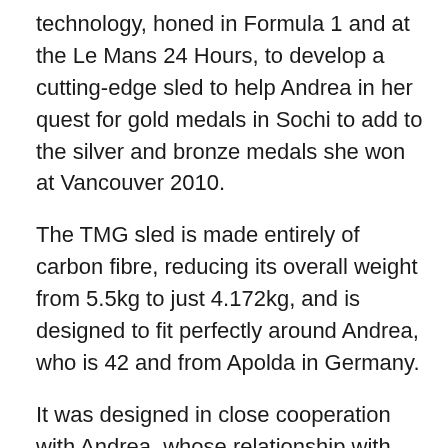technology, honed in Formula 1 and at the Le Mans 24 Hours, to develop a cutting-edge sled to help Andrea in her quest for gold medals in Sochi to add to the silver and bronze medals she won at Vancouver 2010.
The TMG sled is made entirely of carbon fibre, reducing its overall weight from 5.5kg to just 4.172kg, and is designed to fit perfectly around Andrea, who is 42 and from Apolda in Germany.
It was designed in close cooperation with Andrea, whose relationship with TMG began in 2011 when the Cologne-based company cooperated on a seat insert for her double gold medal-winning performance in the cycling at the London Paralympics.
The initial project team of Andrea and TMG staff Gerard Winstanley, Norbert Schäfer and Sergej Blech began with a clean sheet of paper and developed the most ergonomic shape, targeting comfort and weight saving whilst also ensuring reliability at temperatures of